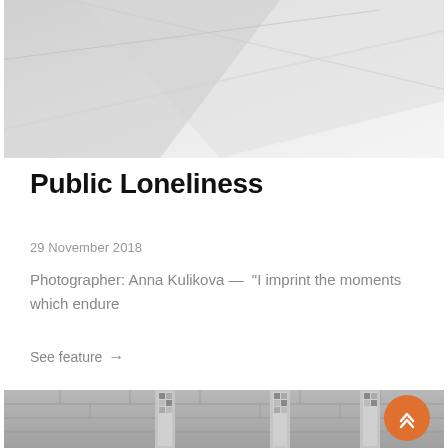[Figure (photo): Black and white abstract architectural photo showing geometric lines and surfaces, cropped at top of page]
Public Loneliness
29 November 2018
Photographer: Anna Kulikova — "I imprint the moments which endure
See feature →
[Figure (photo): Black and white photograph of a stone-clad building exterior with vertical decorative elements, partially visible at bottom of page]